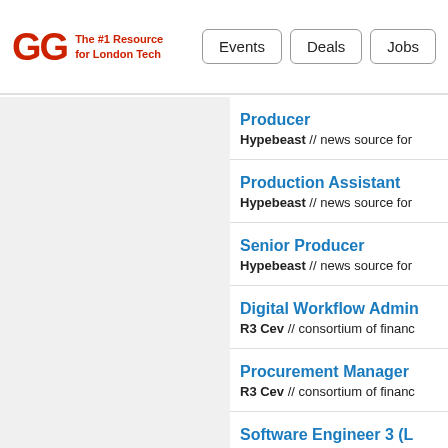GG The #1 Resource for London Tech — Events | Deals | Jobs
Producer — Hypebeast // news source for...
Production Assistant — Hypebeast // news source for...
Senior Producer — Hypebeast // news source for...
Digital Workflow Admin — R3 Cev // consortium of financ...
Procurement Manager — R3 Cev // consortium of financ...
Software Engineer 3 (L...